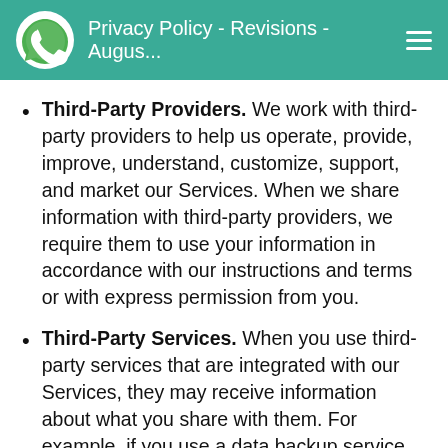Privacy Policy - Revisions - Augus...
Third-Party Providers. We work with third-party providers to help us operate, provide, improve, understand, customize, support, and market our Services. When we share information with third-party providers, we require them to use your information in accordance with our instructions and terms or with express permission from you.
Third-Party Services. When you use third-party services that are integrated with our Services, they may receive information about what you share with them. For example, if you use a data backup service